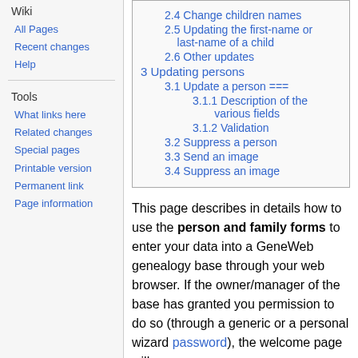Wiki
All Pages
Recent changes
Help
Tools
What links here
Related changes
Special pages
Printable version
Permanent link
Page information
| 2.4 Change children names |
| 2.5 Updating the first-name or last-name of a child |
| 2.6 Other updates |
| 3 Updating persons |
| 3.1 Update a person === |
| 3.1.1 Description of the various fields |
| 3.1.2 Validation |
| 3.2 Suppress a person |
| 3.3 Send an image |
| 3.4 Suppress an image |
This page describes in details how to use the person and family forms to enter your data into a GeneWeb genealogy base through your web browser. If the owner/manager of the base has granted you permission to do so (through a generic or a personal wizard password), the welcome page will